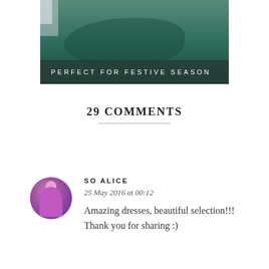[Figure (photo): A woman wearing a dark teal/green flowing dress, photographed from waist down, with a semi-transparent dark overlay banner at the bottom reading 'PERFECT FOR FESTIVE SEASON']
29 COMMENTS
SO ALICE
25 May 2016 at 00:12
Amazing dresses, beautiful selection!!! Thank you for sharing :)